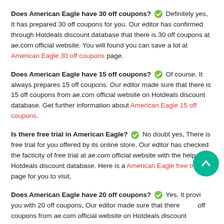Does American Eagle have 30 off coupons? Definitely yes, It has prepared 30 off coupons for you. Our editor has confirmed through Hotdeals discount database that there is 30 off coupons at ae.com official website. You will found you can save a lot at American Eagle 30 off coupons page.
Does American Eagle have 15 off coupons? Of course, It always prepares 15 off coupons. Our editor made sure that there is 15 off coupons from ae.com official website on Hotdeals discount database. Get further information about American Eagle 15 off coupons.
Is there free trial in American Eagle? No doubt yes, There is free trial for you offered by its online store, Our editor has checked the facticity of free trial at ae.com official website with the help of Hotdeals discount database. Here is a American Eagle free trial page for you to visit,
Does American Eagle have 20 off coupons? Yes, It provides you with 20 off coupons, Our editor made sure that there is 20 off coupons from ae.com official website on Hotdeals discount database. Take a look at American Eagle 20 off coupons page.
Is there reddit coupons in American Eagle? Yes, It supplies reddit coupons and offers. Through verifying at ae.com, our editor has released its valid reddit coupons at Hotdeals